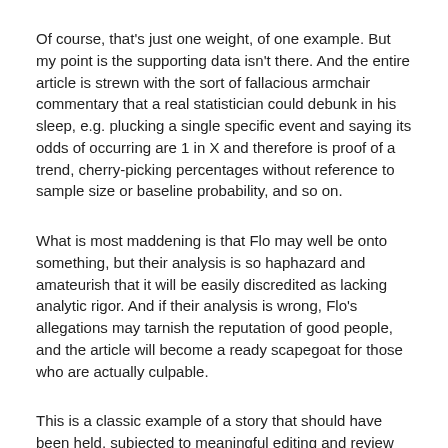Of course, that's just one weight, of one example.  But my point is the supporting data isn't there. And the entire article is strewn with the sort of fallacious armchair commentary that a real statistician could debunk in his sleep, e.g. plucking a single specific event and saying its odds of occurring are 1 in X and therefore is proof of a trend, cherry-picking percentages without reference to sample size or baseline probability, and so on.
What is most maddening is that Flo may well be onto something, but their analysis is so haphazard and amateurish that it will be easily discredited as lacking analytic rigor. And if their analysis is wrong, Flo's allegations may tarnish the reputation of good people, and the article will become a ready scapegoat for those who are actually culpable.
This is a classic example of a story that should have been held, subjected to meaningful editing and review by a Ph.d statistician, and presented only when it is ready for prime time -- and only if proper